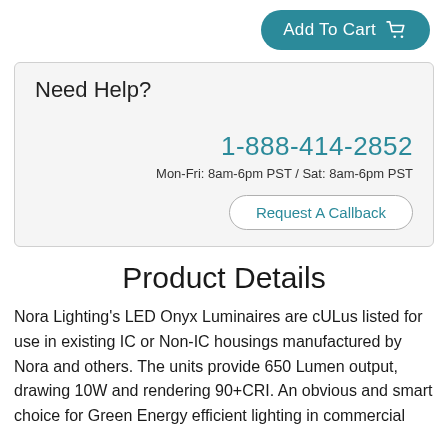[Figure (other): Add To Cart button with shopping cart icon, teal/dark cyan rounded button]
Need Help?
1-888-414-2852
Mon-Fri: 8am-6pm PST / Sat: 8am-6pm PST
Request A Callback
Product Details
Nora Lighting's LED Onyx Luminaires are cULus listed for use in existing IC or Non-IC housings manufactured by Nora and others. The units provide 650 Lumen output, drawing 10W and rendering 90+CRI. An obvious and smart choice for Green Energy efficient lighting in commercial